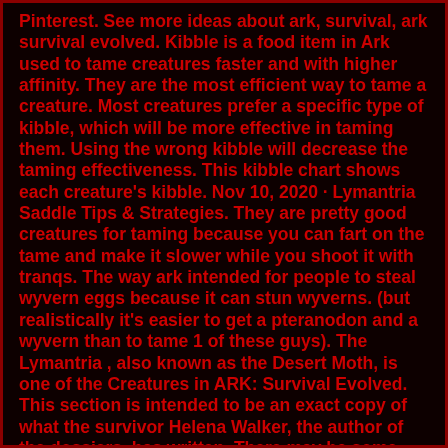Pinterest. See more ideas about ark, survival, ark survival evolved. Kibble is a food item in Ark used to tame creatures faster and with higher affinity. They are the most efficient way to tame a creature. Most creatures prefer a specific type of kibble, which will be more effective in taming them. Using the wrong kibble will decrease the taming effectiveness. This kibble chart shows each creature's kibble. Nov 10, 2020 · Lymantria Saddle Tips & Strategies. They are pretty good creatures for taming because you can fart on the tame and make it slower while you shoot it with tranqs. The way ark intended for people to steal wyvern eggs because it can stun wyverns. (but realistically it's easier to get a pteranodon and a wyvern than to tame 1 of these guys). The Lymantria , also known as the Desert Moth, is one of the Creatures in ARK: Survival Evolved. This section is intended to be an exact copy of what the survivor Helena Walker, the author of the dossiers, has written. There may be some discrepancies between this text and the in-game creature. Passive. Upon combat with a player or dino it will deploy a